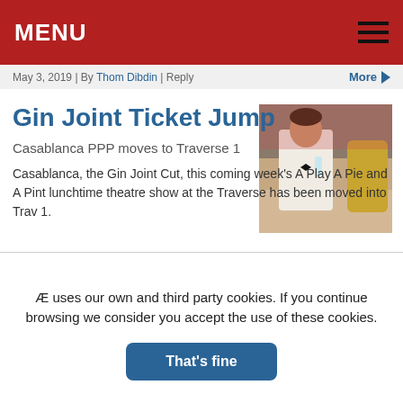MENU
May 3, 2019 | By Thom Dibdin | Reply
Gin Joint Ticket Jump
Casablanca PPP moves to Traverse 1
Casablanca, the Gin Joint Cut, this coming week's A Play A Pie and A Pint lunchtime theatre show at the Traverse has been moved into Trav 1.
[Figure (photo): Man in white tuxedo jacket with bow tie at a bar or theatre event]
April 27, 2019 | By Thom Dibdin | Reply
PPP: Margaret Saves Scotland
[Figure (photo): Dark atmospheric image with foliage and a figure]
Æ uses our own and third party cookies. If you continue browsing we consider you accept the use of these cookies.
That's fine